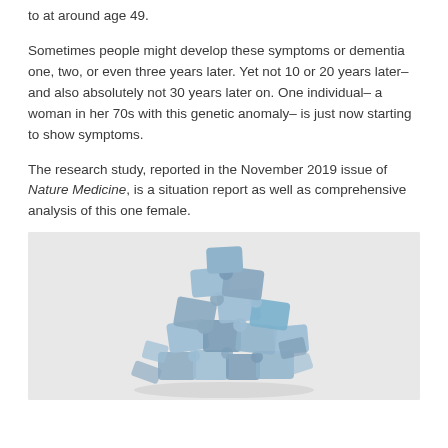to at around age 49.
Sometimes people might develop these symptoms or dementia one, two, or even three years later. Yet not 10 or 20 years later– and also absolutely not 30 years later on. One individual– a woman in her 70s with this genetic anomaly– is just now starting to show symptoms.
The research study, reported in the November 2019 issue of Nature Medicine, is a situation report as well as comprehensive analysis of this one female.
[Figure (illustration): A sphere or dome shape made of blue-grey puzzle pieces, representing dementia or Alzheimer's research, set against a light grey background.]